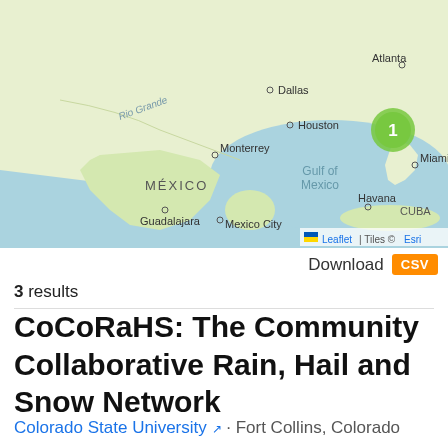[Figure (map): Interactive web map showing North America, Gulf of Mexico, Mexico, Cuba region. A green cluster marker showing '1' is visible near Florida/southeastern US. City labels visible include Dallas, Houston, Atlanta, Monterrey, MÉXICO, Guadalajara, Mexico City, Miami, Havana, CUBA. River label 'Rio Grande' visible. 'Gulf of Mexico' labeled in the body of water. Map attribution shows Leaflet flag icon, Leaflet link, and Tiles © Esri.]
Leaflet | Tiles © Esri
Download CSV
3 results
CoCoRaHS: The Community Collaborative Rain, Hail and Snow Network
Colorado State University · Fort Collins, Colorado